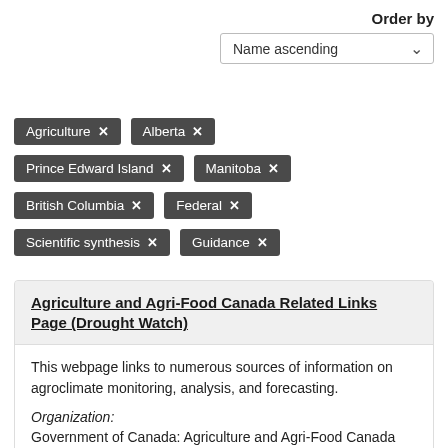Order by
Name ascending
Agriculture ✕
Alberta ✕
Prince Edward Island ✕
Manitoba ✕
British Columbia ✕
Federal ✕
Scientific synthesis ✕
Guidance ✕
Agriculture and Agri-Food Canada Related Links Page (Drought Watch)
This webpage links to numerous sources of information on agroclimate monitoring, analysis, and forecasting.
Organization:
Government of Canada: Agriculture and Agri-Food Canada